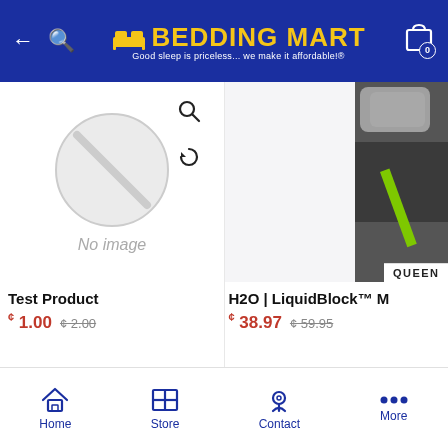Bedding Mart — Good sleep is priceless... we make it affordable!®
[Figure (screenshot): Left product card showing 'No image' placeholder with a circle-slash icon and search/refresh overlay icons]
[Figure (photo): Right product card showing partial product image with 'QUEEN' label at bottom right]
Test Product
¢ 1.00  ¢ 2.00
H2O | LiquidBlock™ M
¢ 38.97  ¢ 59.95
Home  Store  Contact  More